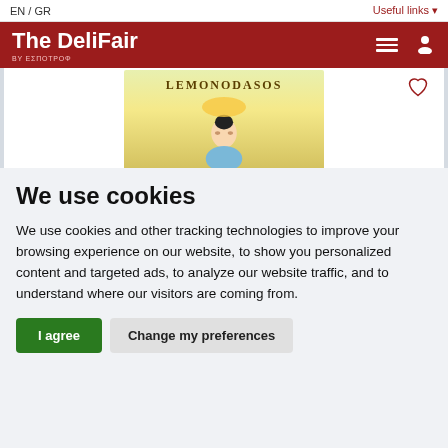EN / GR   Useful links
The DeliFair by EΣΠOΤΡΟΦ
[Figure (photo): Product bottle with 'LEMONODASOS' label showing a woman with lemons on her head, partially visible, with a heart/wishlist icon in the top right corner]
We use cookies
We use cookies and other tracking technologies to improve your browsing experience on our website, to show you personalized content and targeted ads, to analyze our website traffic, and to understand where our visitors are coming from.
I agree   Change my preferences